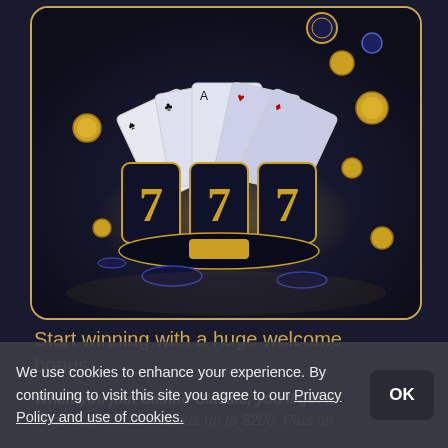[Figure (illustration): Casino-themed illustration: playing cards fanned out, slot machine reels showing 777 in gold on dark navy background, gold coins and dark poker chips scattered around, gold border frame]
Start winning with a huge welcome bonus
When you join Casino Classic, you'll get a huge 100% match bonus up to $200. Plus on your Claim Bonus →
We use cookies to enhance your experience. By continuing to visit this site you agree to our Privacy Policy and use of cookies.